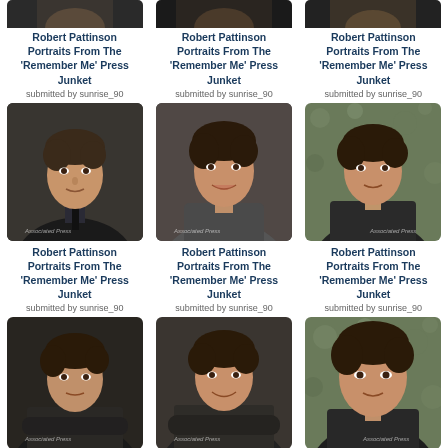[Figure (photo): Robert Pattinson portrait photo (partial top, dark background)]
Robert Pattinson Portraits From The 'Remember Me' Press Junket
submitted by sunrise_90
[Figure (photo): Robert Pattinson portrait photo (partial top, dark background)]
Robert Pattinson Portraits From The 'Remember Me' Press Junket
submitted by sunrise_90
[Figure (photo): Robert Pattinson portrait photo (partial top, dark background)]
Robert Pattinson Portraits From The 'Remember Me' Press Junket
submitted by sunrise_90
[Figure (photo): Robert Pattinson wearing dark jacket and tie, portrait]
Robert Pattinson Portraits From The 'Remember Me' Press Junket
submitted by sunrise_90
[Figure (photo): Robert Pattinson smiling, grey shirt, portrait]
Robert Pattinson Portraits From The 'Remember Me' Press Junket
submitted by sunrise_90
[Figure (photo): Robert Pattinson against floral wallpaper, portrait]
Robert Pattinson Portraits From The 'Remember Me' Press Junket
submitted by sunrise_90
[Figure (photo): Robert Pattinson arms crossed, dark background]
Robert Pattinson Portraits From The
[Figure (photo): Robert Pattinson arms crossed, smiling, dark background]
Robert Pattinson Portraits From The
[Figure (photo): Robert Pattinson against floral wallpaper, close-up]
Robert Pattinson Portraits From The